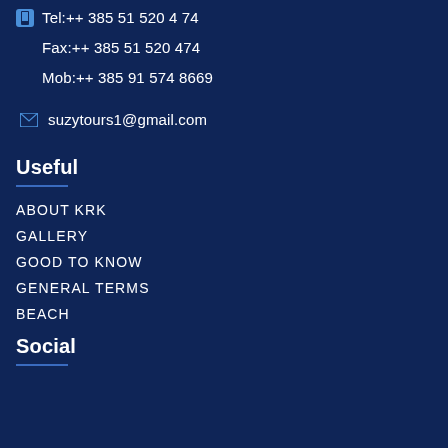Tel:++ 385 51 520 474
Fax:++ 385 51 520 474
Mob:++ 385 91 574 8669
suzytours1@gmail.com
Useful
ABOUT KRK
GALLERY
GOOD TO KNOW
GENERAL TERMS
BEACH
Social